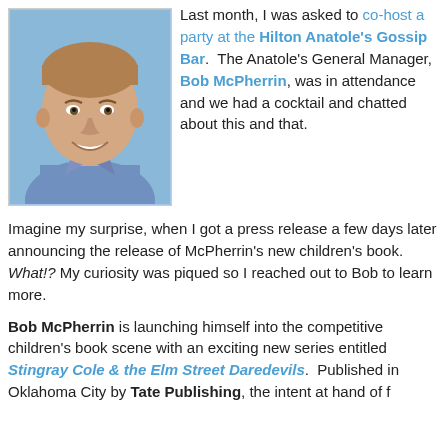[Figure (photo): Headshot photo of a smiling middle-aged man with short brown hair wearing a blue striped shirt, against a blue background.]
Last month, I was asked to co-host a party at the Hilton Anatole's Gossip Bar. The Anatole's General Manager, Bob McPherrin, was in attendance and we had a cocktail and chatted about this and that.
Imagine my surprise, when I got a press release a few days later announcing the release of McPherrin's new children's book. What!? My curiosity was piqued so I reached out to Bob to learn more.
Bob McPherrin is launching himself into the competitive children's book scene with an exciting new series entitled Stingray Cole & the Elm Street Daredevils. Published in Oklahoma City by Tate Publishing, the intent at hand of f